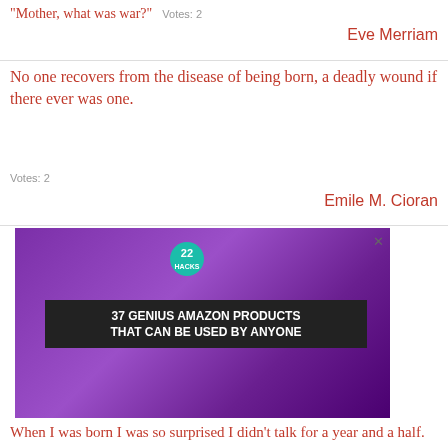"Mother, what was war?"  Votes: 2
Eve Merriam
No one recovers from the disease of being born, a deadly wound if there ever was one.
Votes: 2
Emile M. Cioran
[Figure (screenshot): Advertisement banner showing purple headphones with text '37 GENIUS AMAZON PRODUCTS THAT CAN BE USED BY ANYONE']
When I was born I was so surprised I didn't talk for a year and a half.  Votes: 2
Allen
[Figure (screenshot): Advertisement showing kitchen items with text '37 HOME AND KITCHEN ITEMS EVERYONE SHOULD OWN' with a CLOSE button]
Some...nds,